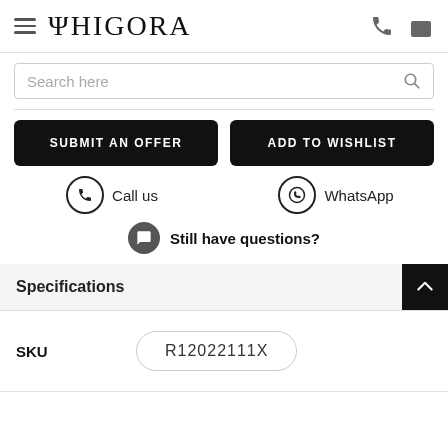PHIGORA
Search here
SUBMIT AN OFFER
ADD TO WISHLIST
Call us
WhatsApp
Still have questions?
Specifications
| SKU |  |
| --- | --- |
| SKU | R12022111X |